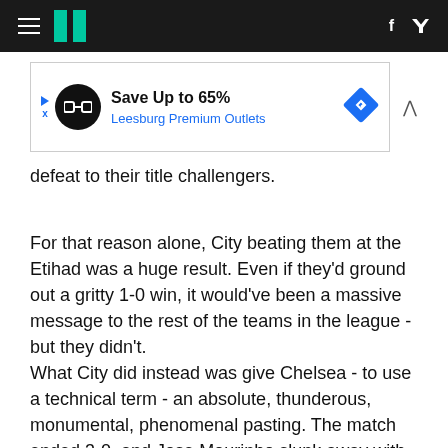HuffPost navigation header with hamburger menu, logo, Facebook and Twitter icons
[Figure (screenshot): Advertisement banner: Save Up to 65% Leesburg Premium Outlets with circular logo and blue diamond icon]
defeat to their title challengers.
For that reason alone, City beating them at the Etihad was a huge result. Even if they'd ground out a gritty 1-0 win, it would've been a massive message to the rest of the teams in the league - but they didn't.
What City did instead was give Chelsea - to use a technical term - an absolute, thunderous, monumental, phenomenal pasting. The match ended 3-0, and Jose Mourinho slunk away with